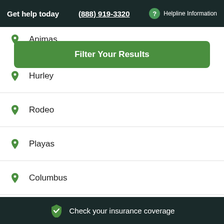Get help today  (888) 919-3320  Helpline Information
Animas
[Figure (other): Green Filter Your Results button]
Hurley
Rodeo
Playas
Columbus
Road Forks
Lordsburg
Check your insurance coverage